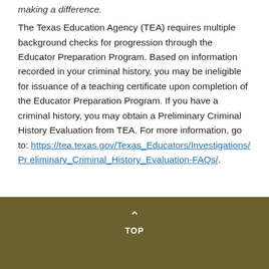making a difference.
The Texas Education Agency (TEA) requires multiple background checks for progression through the Educator Preparation Program. Based on information recorded in your criminal history, you may be ineligible for issuance of a teaching certificate upon completion of the Educator Preparation Program. If you have a criminal history, you may obtain a Preliminary Criminal History Evaluation from TEA. For more information, go to: https://tea.texas.gov/Texas_Educators/Investigations/Preliminary_Criminal_History_Evaluation-FAQs/.
TOP